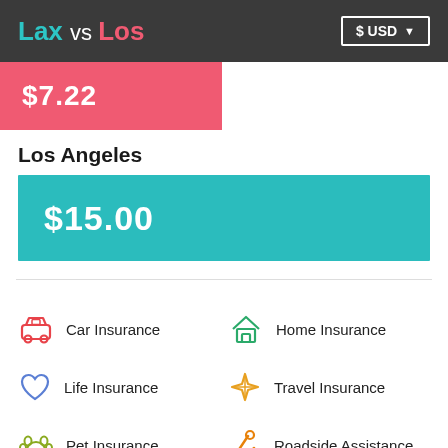Lax vs Los   $ USD
[Figure (other): Red bar showing partial price $7.22 (cropped at top)]
Los Angeles
[Figure (other): Teal bar showing price $15.00]
Car Insurance
Home Insurance
Life Insurance
Travel Insurance
Pet Insurance
Roadside Assistance